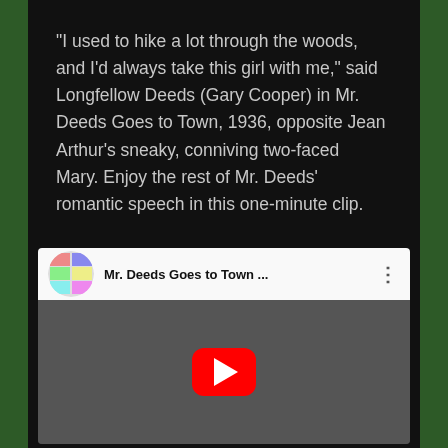“I used to hike a lot through the woods, and I’d always take this girl with me,” said Longfellow Deeds (Gary Cooper) in Mr. Deeds Goes to Town, 1936, opposite Jean Arthur’s sneaky, conniving two-faced Mary. Enjoy the rest of Mr. Deeds’ romantic speech in this one-minute clip.
[Figure (screenshot): YouTube video embed showing Mr. Deeds Goes to Town with channel icon, video title 'Mr. Deeds Goes to Town ...' with three-dot menu, and a black-and-white film still of two actors with a YouTube play button overlay.]